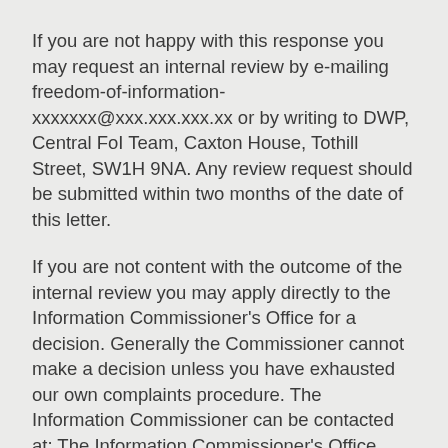If you are not happy with this response you may request an internal review by e-mailing freedom-of-information-xxxxxxx@xxx.xxx.xxx.xx or by writing to DWP, Central FoI Team, Caxton House, Tothill Street, SW1H 9NA. Any review request should be submitted within two months of the date of this letter.
If you are not content with the outcome of the internal review you may apply directly to the Information Commissioner's Office for a decision. Generally the Commissioner cannot make a decision unless you have exhausted our own complaints procedure. The Information Commissioner can be contacted at: The Information Commissioner's Office, Wycliffe House, Water Lane, Wilmslow Cheshire SK9 5AF www.ico.gov.uk